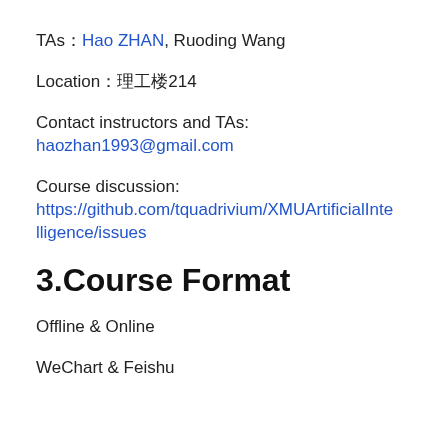TAs：Hao ZHAN, Ruoding Wang
Location：理工楼214
Contact instructors and TAs:
haozhan1993@gmail.com
Course discussion:
https://github.com/tquadrivium/XMUArtificialIntelligence/issues
3.Course Format
Offline & Online
WeChart & Feishu